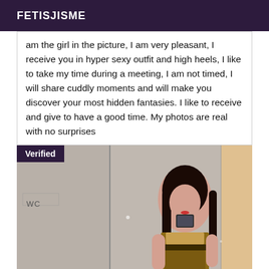FETISJISME
am the girl in the picture, I am very pleasant, I receive you in hyper sexy outfit and high heels, I like to take my time during a meeting, I am not timed, I will share cuddly moments and will make you discover your most hidden fantasies. I like to receive and give to have a good time. My photos are real with no surprises
[Figure (photo): A woman with long dark hair taking a mirror selfie in a bathroom, wearing a patterned dress. A 'Verified' badge appears in the top left corner and a 'WC' sign is visible on the left wall.]